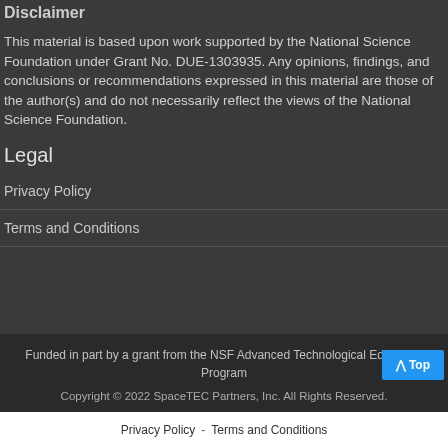Disclaimer
This material is based upon work supported by the National Science Foundation under Grant No. DUE-1303935. Any opinions, findings, and conclusions or recommendations expressed in this material are those of the author(s) and do not necessarily reflect the views of the National Science Foundation.
Legal
Privacy Policy
Terms and Conditions
Funded in part by a grant from the NSF Advanced Technological Education Program
Copyright © 2022 SpaceTEC Partners, Inc. All Rights Reserved.
Privacy Policy - Terms and Conditions